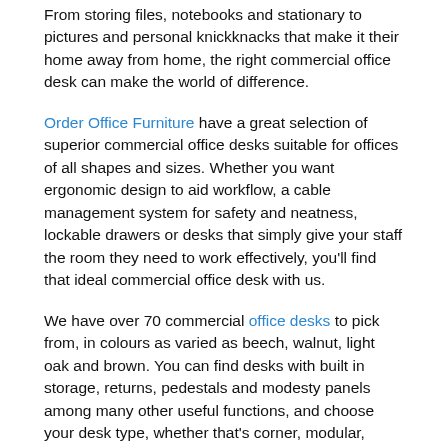From storing files, notebooks and stationary to pictures and personal knickknacks that make it their home away from home, the right commercial office desk can make the world of difference.
Order Office Furniture have a great selection of superior commercial office desks suitable for offices of all shapes and sizes. Whether you want ergonomic design to aid workflow, a cable management system for safety and neatness, lockable drawers or desks that simply give your staff the room they need to work effectively, you'll find that ideal commercial office desk with us.
We have over 70 commercial office desks to pick from, in colours as varied as beech, walnut, light oak and brown. You can find desks with built in storage, returns, pedestals and modesty panels among many other useful functions, and choose your desk type, whether that's corner, modular, rectangular, hideaway, wave or as mentioned, the popular ergonomic design.
Benefits of Commercial Office Desks